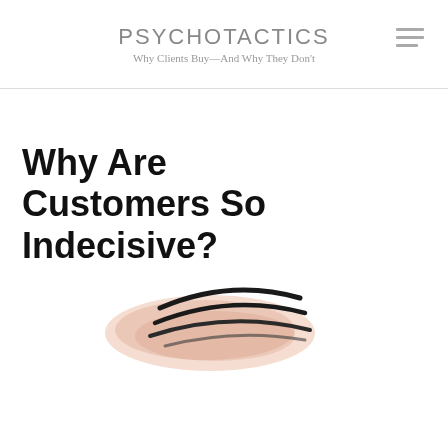PSYCHOTACTICS
Why Clients Buy—And Why They Don't
Why Are Customers So Indecisive?
[Figure (illustration): Abstract swooping bird or feather illustration with dark curved lines over a soft peachy-orange watercolor wash]